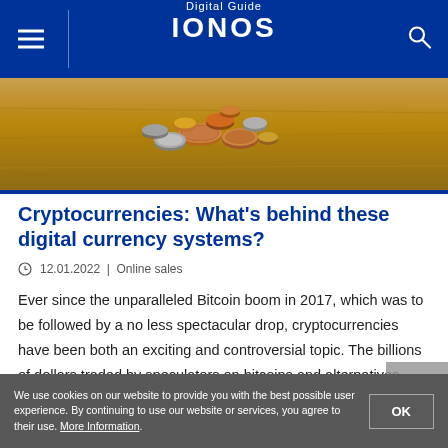Digital Guide IONOS
[Figure (photo): Pile of various coins scattered on a wooden surface, viewed from above.]
Cryptocurrencies: What's behind these digital currency systems?
⊙ 12.01.2022  |  Online sales
Ever since the unparalleled Bitcoin boom in 2017, which was to be followed by a no less spectacular drop, cryptocurrencies have been both an exciting and controversial topic. The billions of dollars traded by speculators on bitcoins and alternatives such as Ethereum are often not even considered in the
We use cookies on our website to provide you with the best possible user experience. By continuing to use our website or services, you agree to their use. More Information.